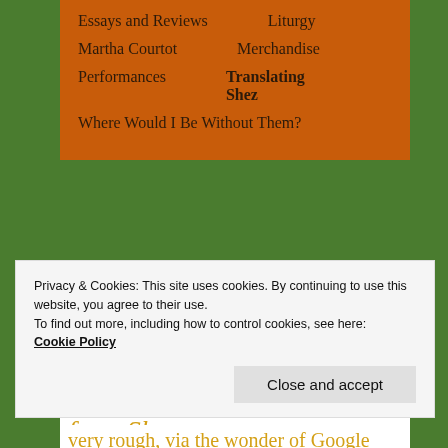Essays and Reviews
Liturgy
Martha Courtot
Merchandise
Performances
Translating Shez
Where Would I Be Without Them?
Rough translation
from Shez...
Privacy & Cookies: This site uses cookies. By continuing to use this website, you agree to their use.
To find out more, including how to control cookies, see here: Cookie Policy
Close and accept
very rough, via the wonder of Google